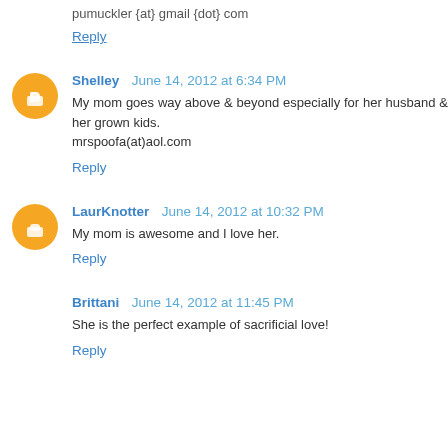pumuckler {at} gmail {dot} com
Reply
Shelley  June 14, 2012 at 6:34 PM
My mom goes way above & beyond especially for her husband & her grown kids.
mrspoofa(at)aol.com
Reply
LaurKnotter  June 14, 2012 at 10:32 PM
My mom is awesome and I love her.
Reply
Brittani  June 14, 2012 at 11:45 PM
She is the perfect example of sacrificial love!
Reply